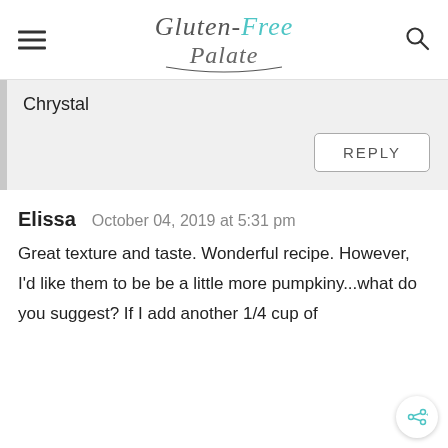[Figure (logo): Gluten-Free Palate logo in script/cursive font with teal and gray colors]
Chrystal
REPLY
Elissa   October 04, 2019 at 5:31 pm
Great texture and taste. Wonderful recipe. However, I'd like them to be be a little more pumpkiny...what do you suggest? If I add another 1/4 cup of